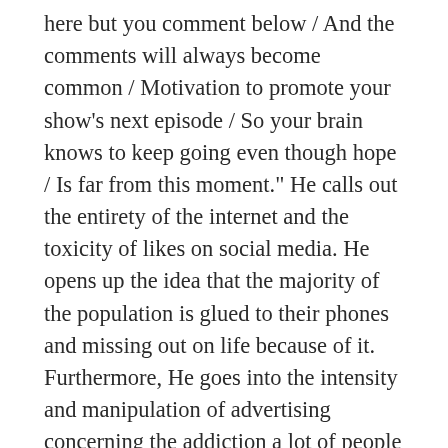here but you comment below / And the comments will always become common / Motivation to promote your show’s next episode / So your brain knows to keep going even though hope / Is far from this moment.” He calls out the entirety of the internet and the toxicity of likes on social media. He opens up the idea that the majority of the population is glued to their phones and missing out on life because of it. Furthermore, He goes into the intensity and manipulation of advertising concerning the addiction a lot of people have to social media. There really is no hope of this ending anytime soon. People want to keep making money so advertising will continue to do what works even if it can be seen negatively